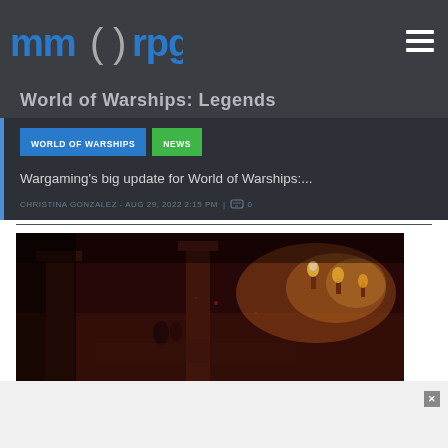MMORPG.com
World of Warships: Legends
WORLD OF WARSHIPS
NEWS
Wargaming's big update for World of Warships:...
CHRISTINA GONZALEZ - AUG 29, 2022 2:15 PM | 0
[Figure (screenshot): World of Warships: Legends game screenshot showing a dark, dimly lit dungeon-like environment with red atmospheric lighting, stone pillars, and glowing torches. Characters visible in the scene.]